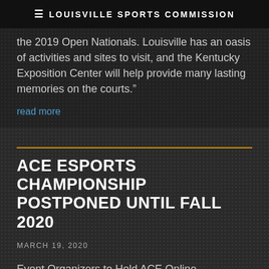≡ LOUISVILLE SPORTS COMMISSION
the 2019 Open Nationals. Louisville has an oasis of activities and sites to visit, and the Kentucky Exposition Center will help provide many lasting memories on the courts."
read more
ACE ESPORTS CHAMPIONSHIP POSTPONED UNTIL FALL 2020
MARCH 19, 2020
Event Organizers to Hold ACE Online Competition April 18-19